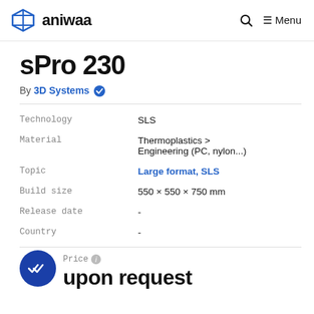aniwaa  Menu
sPro 230
By 3D Systems ✓
|  |  |
| --- | --- |
| Technology | SLS |
| Material | Thermoplastics > Engineering (PC, nylon...) |
| Topic | Large format, SLS |
| Build size | 550 × 550 × 750 mm |
| Release date | - |
| Country | - |
Price  upon request